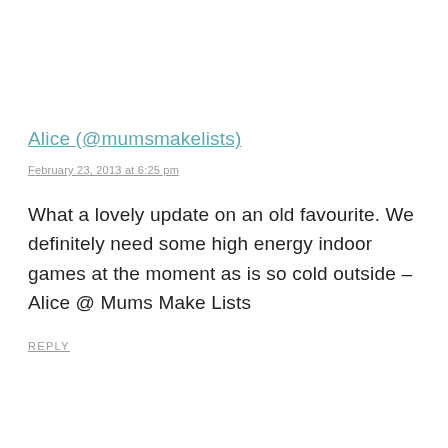Alice (@mumsmakelists)
February 23, 2013 at 6:25 pm
What a lovely update on an old favourite. We definitely need some high energy indoor games at the moment as is so cold outside – Alice @ Mums Make Lists
REPLY